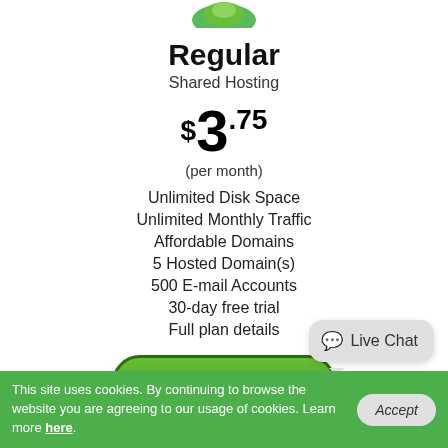[Figure (logo): Green logo/icon partially visible at top]
Regular
Shared Hosting
$3.75 (per month)
Unlimited Disk Space
Unlimited Monthly Traffic
Affordable Domains
5 Hosted Domain(s)
500 E-mail Accounts
30-day free trial
Full plan details
Start Free Trial
Live Chat
This site uses cookies. By continuing to browse the website you are agreeing to our usage of cookies. Learn more here.